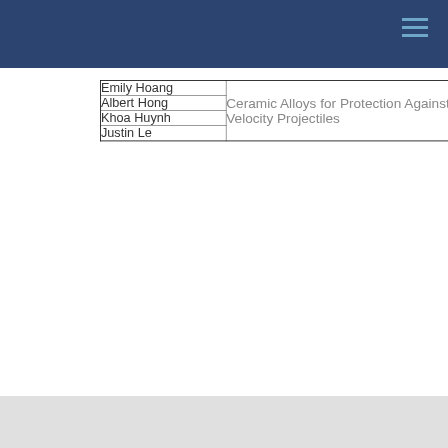| Author | Title |
| --- | --- |
| Emily Hoang | Ceramic Alloys for Protection Against High Velocity Projectiles |
| Albert Hong |  |
| Khoa Huynh |  |
| Justin Le |  |